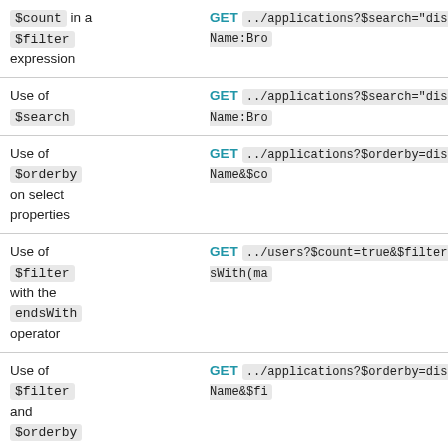| Description | Example |
| --- | --- |
| $count in a $filter expression | GET ../applications?$search="displayName:Bro |
| Use of $search | GET ../applications?$search="displayName:Bro |
| Use of $orderby on select properties | GET ../applications?$orderby=displayName&$co |
| Use of $filter with the endsWith operator | GET ../users?$count=true&$filter=endsWith(ma |
| Use of $filter and $orderby | GET ../applications?$orderby=displayName&$fi |